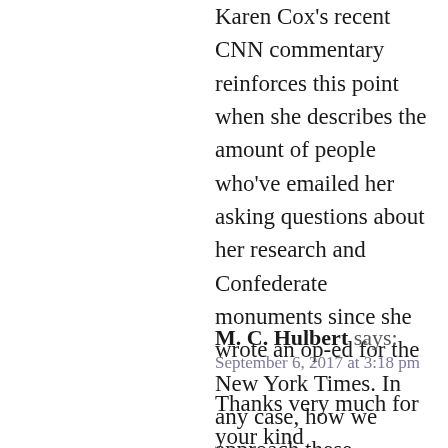Karen Cox's recent CNN commentary reinforces this point when she describes the amount of people who've emailed her asking questions about her research and Confederate monuments since she wrote an op-ed for the New York Times. In any case, how we approach these conversations is important and this essay does a great job of pointing that out.
Reply →
M. C. Hulbert says: September 6, 2017 at 3:18 pm
Thanks very much for your kind